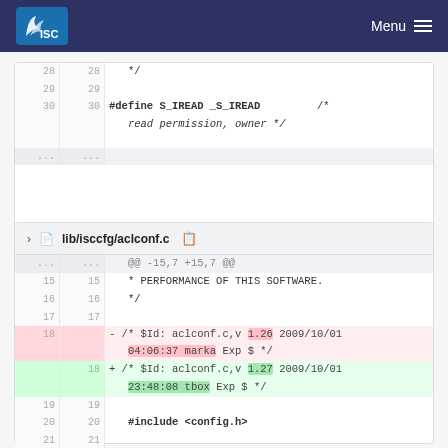ISC | Menu
Code diff block 1: lines 28-30 showing #define S_IREAD _S_IREAD /* read permission, owner */
lib/isccfg/aclconf.c
Code diff block 2: lines 15-21 with deleted line 18 (/* $Id: aclconf.c,v 1.26 2009/10/01 04:06:37 marka Exp $ */) and added line 18 (/* $Id: aclconf.c,v 1.27 2009/10/01 23:48:08 tbox Exp $ */), also showing @@ -208,7 +208,7 @@